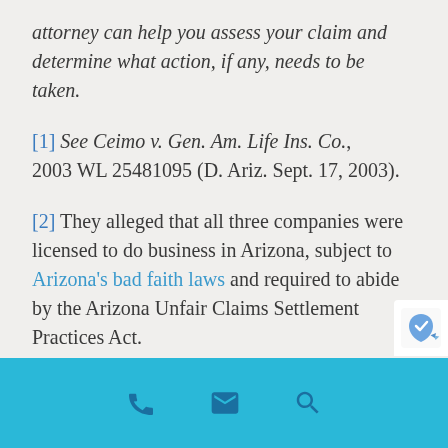attorney can help you assess your claim and determine what action, if any, needs to be taken.
[1] See Ceimo v. Gen. Am. Life Ins. Co., 2003 WL 25481095 (D. Ariz. Sept. 17, 2003).
[2] They alleged that all three companies were licensed to do business in Arizona, subject to Arizona's bad faith laws and required to abide by the Arizona Unfair Claims Settlement Practices Act.
[phone icon] [email icon] [search icon]